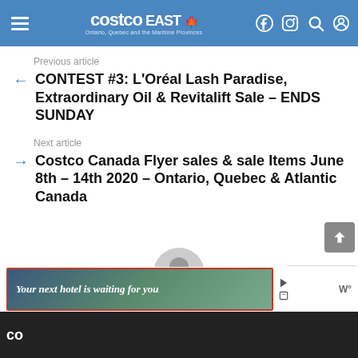Costco East — Ontario, Quebec and the Maritime Provinces
Previous article
CONTEST #3: L'Oréal Lash Paradise, Extraordinary Oil & Revitalift Sale – ENDS SUNDAY
Next article
Costco Canada Flyer sales & sale Items June 8th – 14th 2020 – Ontario, Quebec & Atlantic Canada
Written by Costco East
[Figure (screenshot): Advertisement banner: 'Your next hotel is waiting for you' with hotel image]
co — footer bar with weather icon